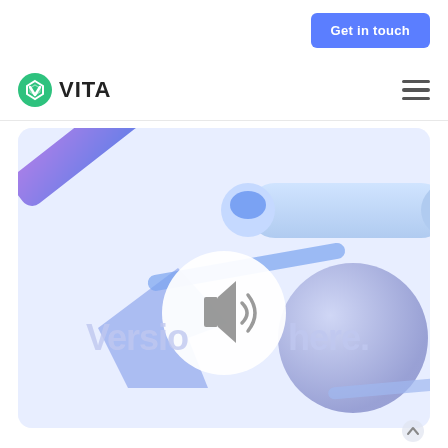Get in touch
[Figure (logo): VITA logo with green shield/V icon and VITA text]
[Figure (illustration): 3D abstract shapes (blue/purple cylinders, prisms, sphere) with overlaid sound icon and partial text 'Versio...here.' on a light blue background, representing a multimedia hero banner with a muted video state]
[Figure (other): Scroll-up chevron arrow at bottom right]